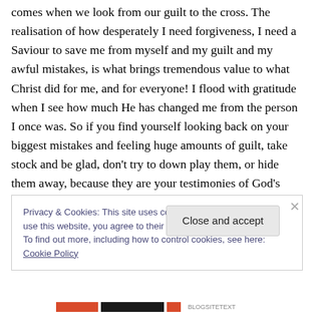comes when we look from our guilt to the cross. The realisation of how desperately I need forgiveness, I need a Saviour to save me from myself and my guilt and my awful mistakes, is what brings tremendous value to what Christ did for me, and for everyone! I flood with gratitude when I see how much He has changed me from the person I once was. So if you find yourself looking back on your biggest mistakes and feeling huge amounts of guilt, take stock and be glad, don't try to down play them, or hide them away, because they are your testimonies of God's grace. If you find yourself looking back and being numb to your sins or
Privacy & Cookies: This site uses cookies. By continuing to use this website, you agree to their use.
To find out more, including how to control cookies, see here: Cookie Policy
Close and accept